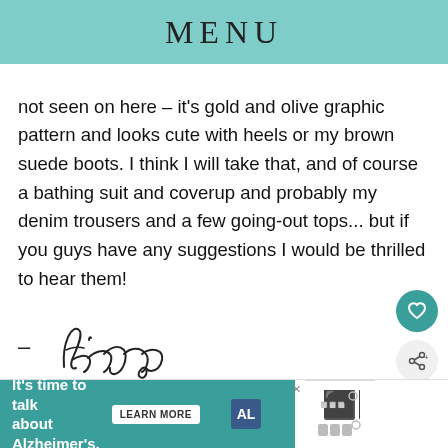MENU
not seen on here – it's gold and olive graphic pattern and looks cute with heels or my brown suede boots. I think I will take that, and of course a bathing suit and coverup and probably my denim trousers and a few going-out tops... but if you guys have any suggestions I would be thrilled to hear them!
[Figure (illustration): Handwritten cursive signature reading '– Alison']
[Figure (other): Social sharing icons: Facebook (f), Twitter (bird), Pinterest (p)]
[Figure (other): Advertisement banner: It's time to talk about Alzheimer's. LEARN MORE button. Alzheimer's Association logo.]